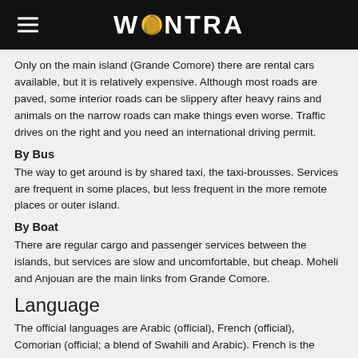WONTRA
Only on the main island (Grande Comore) there are rental cars available, but it is relatively expensive. Although most roads are paved, some interior roads can be slippery after heavy rains and animals on the narrow roads can make things even worse. Traffic drives on the right and you need an international driving permit.
By Bus
The way to get around is by shared taxi, the taxi-brousses. Services are frequent in some places, but less frequent in the more remote places or outer island.
By Boat
There are regular cargo and passenger services between the islands, but services are slow and uncomfortable, but cheap. Moheli and Anjouan are the main links from Grande Comore.
Language
The official languages are Arabic (official), French (official), Comorian (official; a blend of Swahili and Arabic). French is the language of administration and education and Arabic is the...